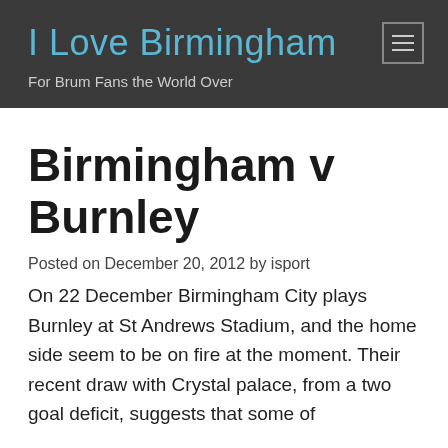I Love Birmingham
For Brum Fans the World Over
Birmingham v Burnley
Posted on December 20, 2012 by isport
On 22 December Birmingham City plays Burnley at St Andrews Stadium, and the home side seem to be on fire at the moment. Their recent draw with Crystal palace, from a two goal deficit, suggests that some of